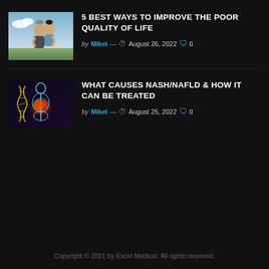[Figure (photo): Two people embracing outdoors, an older man and younger person hugging, sky in background]
5 BEST WAYS TO IMPROVE THE POOR QUALITY OF LIFE
by Mikel — August 26, 2022  0
[Figure (photo): Medical illustration of human body showing internal organs glowing orange with DNA helix strands on dark background]
WHAT CAUSES NASH/NAFLD & HOW IT CAN BE TREATED
by Mikel — August 25, 2022  0
Copyright © 2021 by Excel Medical. All rights reserved.